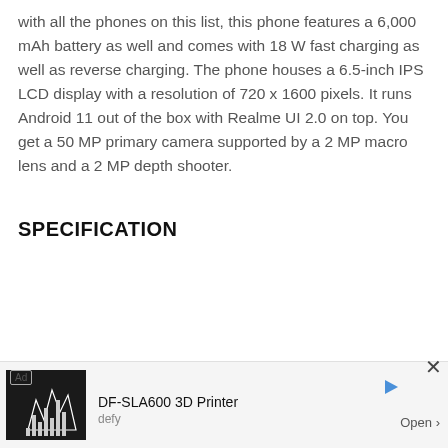with all the phones on this list, this phone features a 6,000 mAh battery as well and comes with 18 W fast charging as well as reverse charging. The phone houses a 6.5-inch IPS LCD display with a resolution of 720 x 1600 pixels. It runs Android 11 out of the box with Realme UI 2.0 on top. You get a 50 MP primary camera supported by a 2 MP macro lens and a 2 MP depth shooter.
SPECIFICATION
|  |  |  |
| --- | --- | --- |
| Processor | : | MediaTek Helio G85 Octa core (2 GHz, 1.8 GHz) |
| Memory | : | 4 GB RAM, 64 GB Storage |
| Display | : | 6.5" (1600 x 720) screen, 269 PPI |
| Camera | : | 50 + 2 + 2 MPTriple Rear camera, 8 MP Front Camera with Video recording |
[Figure (other): Advertisement banner for DF-SLA600 3D Printer by defy with an Open button and play arrow icon]